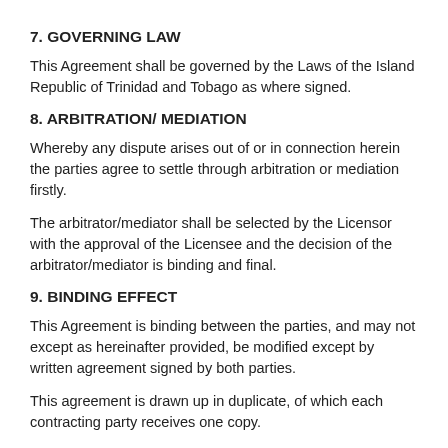7. GOVERNING LAW
This Agreement shall be governed by the Laws of the Island Republic of Trinidad and Tobago as where signed.
8. ARBITRATION/ MEDIATION
Whereby any dispute arises out of or in connection herein the parties agree to settle through arbitration or mediation firstly.
The arbitrator/mediator shall be selected by the Licensor with the approval of the Licensee and the decision of the arbitrator/mediator is binding and final.
9. BINDING EFFECT
This Agreement is binding between the parties, and may not except as hereinafter provided, be modified except by written agreement signed by both parties.
This agreement is drawn up in duplicate, of which each contracting party receives one copy.